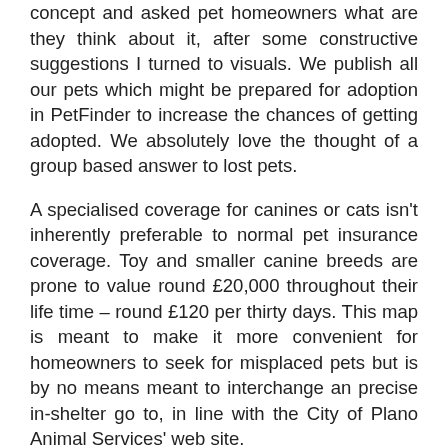concept and asked pet homeowners what are they think about it, after some constructive suggestions I turned to visuals. We publish all our pets which might be prepared for adoption in PetFinder to increase the chances of getting adopted. We absolutely love the thought of a group based answer to lost pets.
A specialised coverage for canines or cats isn't inherently preferable to normal pet insurance coverage. Toy and smaller canine breeds are prone to value round £20,000 throughout their life time – round £120 per thirty days. This map is meant to make it more convenient for homeowners to seek for misplaced pets but is by no means meant to interchange an precise in-shelter go to, in line with the City of Plano Animal Services' web site.
The gadget comes in such cool design and is [TOP] ight-weight that cats would love to put on it. Birds can grow to be easily bored and frustrated if they don't have